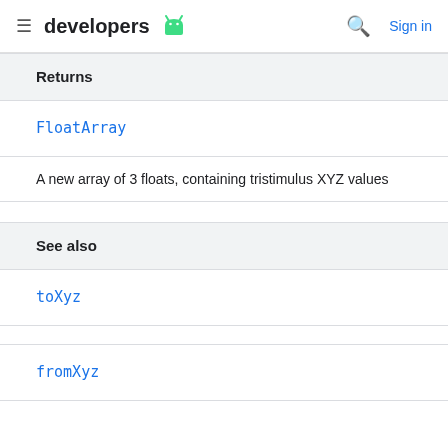developers (Android logo) | Search | Sign in
Returns
FloatArray
A new array of 3 floats, containing tristimulus XYZ values
See also
toXyz
fromXyz